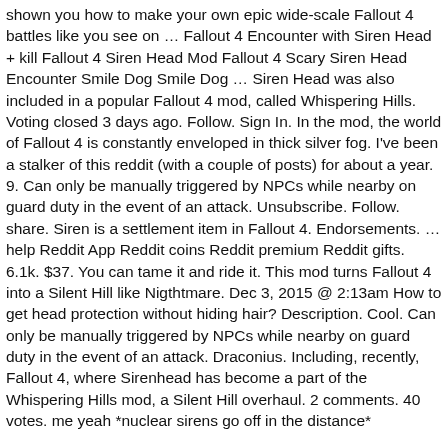shown you how to make your own epic wide-scale Fallout 4 battles like you see on … Fallout 4 Encounter with Siren Head + kill Fallout 4 Siren Head Mod Fallout 4 Scary Siren Head Encounter Smile Dog Smile Dog … Siren Head was also included in a popular Fallout 4 mod, called Whispering Hills. Voting closed 3 days ago. Follow. Sign In. In the mod, the world of Fallout 4 is constantly enveloped in thick silver fog. I've been a stalker of this reddit (with a couple of posts) for about a year. 9. Can only be manually triggered by NPCs while nearby on guard duty in the event of an attack. Unsubscribe. Follow. share. Siren is a settlement item in Fallout 4. Endorsements. … help Reddit App Reddit coins Reddit premium Reddit gifts. 6.1k. $37. You can tame it and ride it. This mod turns Fallout 4 into a Silent Hill like Nigthtmare. Dec 3, 2015 @ 2:13am How to get head protection without hiding hair? Description. Cool. Can only be manually triggered by NPCs while nearby on guard duty in the event of an attack. Draconius. Including, recently, Fallout 4, where Sirenhead has become a part of the Whispering Hills mod, a Silent Hill overhaul. 2 comments. 40 votes. me yeah *nuclear sirens go off in the distance*